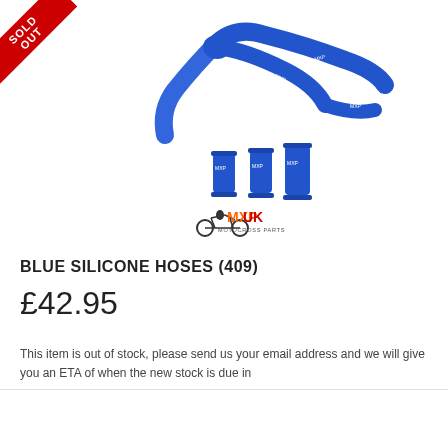[Figure (photo): Blue silicone hoses product photo with MXPUK Motocross Parts logo — shows several blue silicone radiator hoses of different shapes and sizes arranged on white background, with SOLD OUT ribbon banner in top-left corner]
BLUE SILICONE HOSES (409)
£42.95
This item is out of stock, please send us your email address and we will give you an ETA of when the new stock is due in